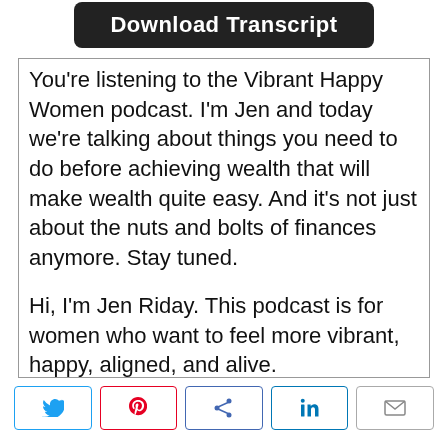[Figure (other): Dark rounded rectangle button with text 'Download Transcript']
You're listening to the Vibrant Happy Women podcast. I'm Jen and today we're talking about things you need to do before achieving wealth that will make wealth quite easy. And it's not just about the nuts and bolts of finances anymore. Stay tuned.

Hi, I'm Jen Riday. This podcast is for women who want to feel more vibrant, happy, aligned, and alive.
[Figure (infographic): Social share buttons row: Twitter, Pinterest, Facebook, LinkedIn, Email]